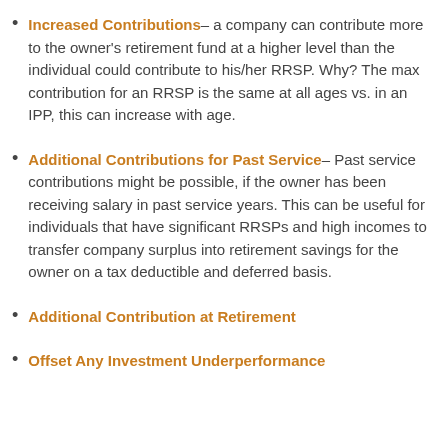Increased Contributions– a company can contribute more to the owner's retirement fund at a higher level than the individual could contribute to his/her RRSP. Why? The max contribution for an RRSP is the same at all ages vs. in an IPP, this can increase with age.
Additional Contributions for Past Service– Past service contributions might be possible, if the owner has been receiving salary in past service years. This can be useful for individuals that have significant RRSPs and high incomes to transfer company surplus into retirement savings for the owner on a tax deductible and deferred basis.
Additional Contribution at Retirement
Offset Any Investment Underperformance